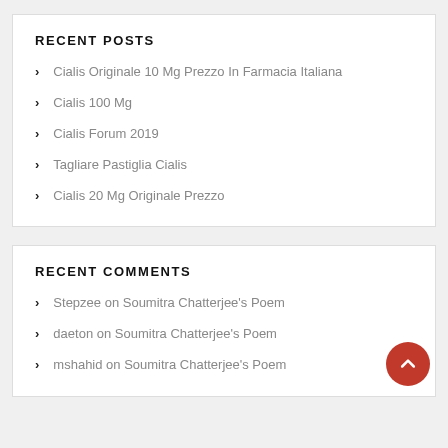RECENT POSTS
Cialis Originale 10 Mg Prezzo In Farmacia Italiana
Cialis 100 Mg
Cialis Forum 2019
Tagliare Pastiglia Cialis
Cialis 20 Mg Originale Prezzo
RECENT COMMENTS
Stepzee on Soumitra Chatterjee's Poem
daeton on Soumitra Chatterjee's Poem
mshahid on Soumitra Chatterjee's Poem